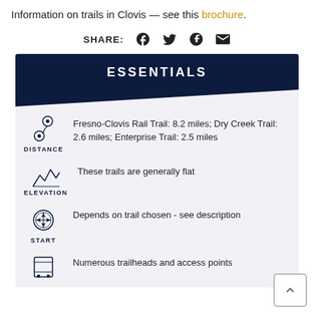Information on trails in Clovis — see this brochure.
[Figure (infographic): Share icons row: SHARE: label followed by Facebook, Twitter, Pinterest, and email icons]
ESSENTIALS
DISTANCE: Fresno-Clovis Rail Trail: 8.2 miles; Dry Creek Trail: 2.6 miles; Enterprise Trail: 2.5 miles
ELEVATION: These trails are generally flat
START: Depends on trail chosen - see description
Numerous trailheads and access points